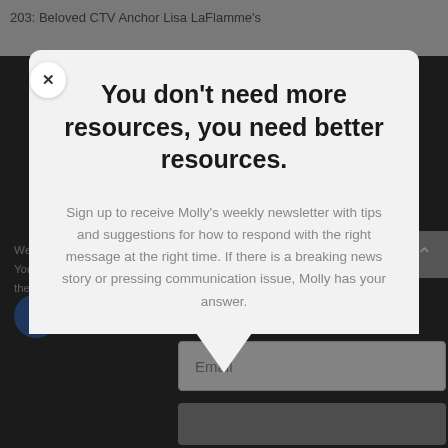203: Beloved CTV Anchor Lisa LaFlamme's
You don't need more resources, you need better resources.
Sign up to receive Molly's weekly newsletter with tips and suggestions for how to respond with the right message at the right time. If there is a breaking news story or pressing communication issue, Molly has your answer.
We a... You... then...
osite. ch